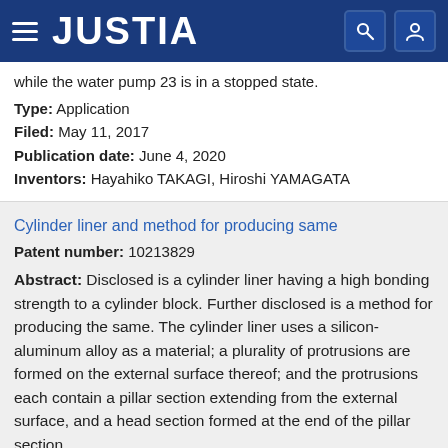JUSTIA
while the water pump 23 is in a stopped state.
Type: Application
Filed: May 11, 2017
Publication date: June 4, 2020
Inventors: Hayahiko TAKAGI, Hiroshi YAMAGATA
Cylinder liner and method for producing same
Patent number: 10213829
Abstract: Disclosed is a cylinder liner having a high bonding strength to a cylinder block. Further disclosed is a method for producing the same. The cylinder liner uses a silicon-aluminum alloy as a material; a plurality of protrusions are formed on the external surface thereof; and the protrusions each contain a pillar section extending from the external surface, and a head section formed at the end of the pillar section.